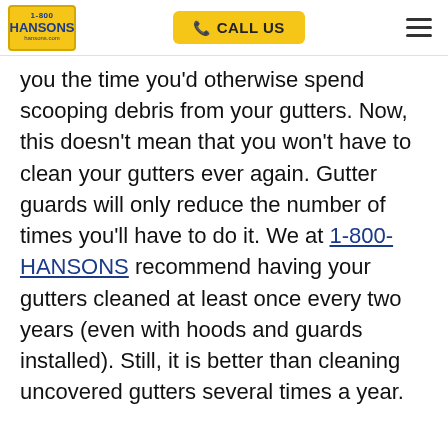1-800 HANSONS hansons.com | CALL US
you the time you’d otherwise spend scooping debris from your gutters. Now, this doesn’t mean that you won’t have to clean your gutters ever again. Gutter guards will only reduce the number of times you’ll have to do it. We at 1-800-HANSONS recommend having your gutters cleaned at least once every two years (even with hoods and guards installed). Still, it is better than cleaning uncovered gutters several times a year.